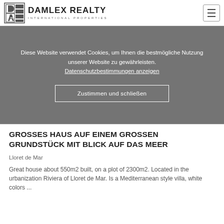DAMLEX REALTY INTERNATIONAL PROPERTIES
Diese Website verwendet Cookies, um Ihnen die bestmögliche Nutzung unserer Website zu gewährleisten. Datenschutzbestimmungen anzeigen
Zustimmen und schließen
GROSSES HAUS AUF EINEM GROSSEN GRUNDSTÜCK MIT BLICK AUF DAS MEER
Lloret de Mar
Great house about 550m2 built, on a plot of 2300m2. Located in the urbanization Riviera of Lloret de Mar. Is a Mediterranean style villa, white colors ...